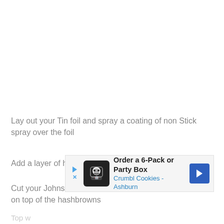Lay out your Tin foil and spray a coating of non Stick spray over the foil
Add a layer of hashbrowns
Cut your Johnsonville Brats into chunks and add them on top of the hashbrowns
[Figure (other): Advertisement banner for Crumbl Cookies - Order a 6-Pack or Party Box, Crumbl Cookies - Ashburn]
Top w…